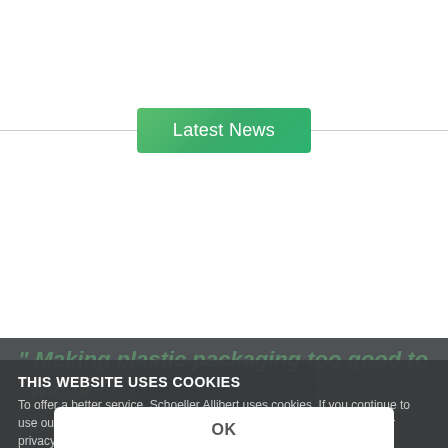[Figure (screenshot): Green gradient button labeled 'Latest News' with horizontal lines on either side]
[Figure (screenshot): Green gradient button labeled 'Sustainability' with horizontal lines on either side]
THIS WEBSITE USES COOKIES
To offer a better service, Schoeller Allibert uses cookies. If you continue to use our site, you agree with the usage of our cookies. We reviewed our privacy policy in order to be compliant with GDPR. Click here for more information.
OK